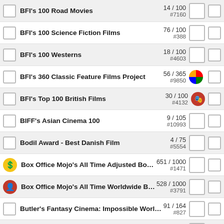BFI's 100 Road Movies — 14 / 100 #7160
BFI's 100 Science Fiction Films — 76 / 100 #388
BFI's 100 Westerns — 18 / 100 #4603
BFI's 360 Classic Feature Films Project — 56 / 365 #9850
BFI's Top 100 British Films — 30 / 100 #4132
BIFF's Asian Cinema 100 — 9 / 105 #10993
Bodil Award - Best Danish Film — 4 / 75 #5554
Box Office Mojo's All Time Adjusted Box Offi... — 651 / 1000 #1471
Box Office Mojo's All Time Worldwide Box Off... — 528 / 1000 #3791
Butler's Fantasy Cinema: Impossible Worlds o... — 91 / 164 #827
Cahiers du Cinéma's 100 Films for an Ideal C... — 26 / 100 #11070